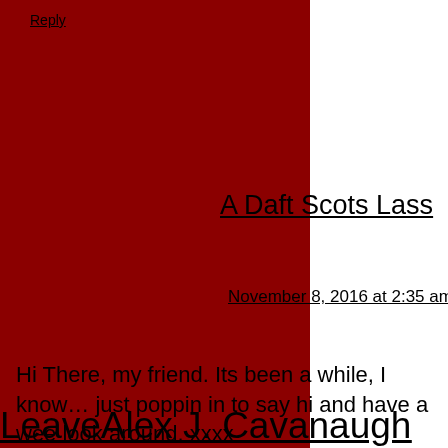Reply
A Daft Scots Lass
November 8, 2016 at 2:35 am
Hi There, my friend. Its been a while, I know… just poppin in to say hi and have a wee look around. xxxx
Reply
LeaveAlex J. Cavanaugh